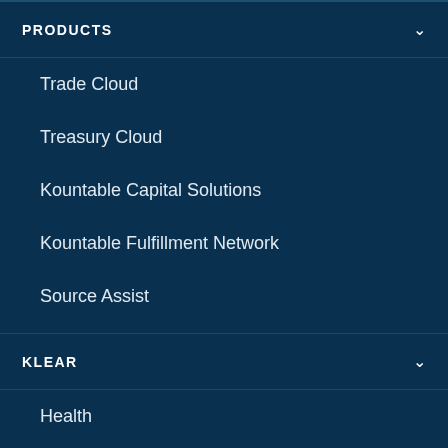PRODUCTS
Trade Cloud
Treasury Cloud
Kountable Capital Solutions
Kountable Fulfillment Network
Source Assist
KLEAR
Health
Treasury